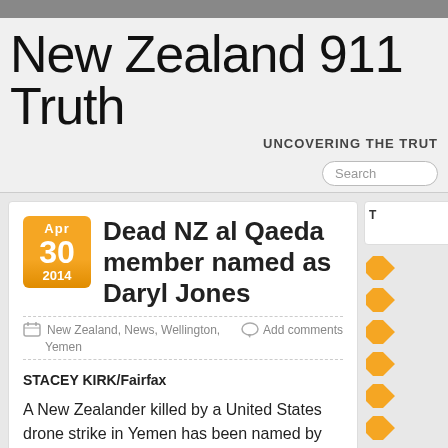New Zealand 911 Truth
UNCOVERING THE TRUT
Dead NZ al Qaeda member named as Daryl Jones
New Zealand, News, Wellington, Yemen  Add comments
STACEY KIRK/Fairfax
A New Zealander killed by a United States drone strike in Yemen has been named by an Australian newspaper as Daryl Jones.